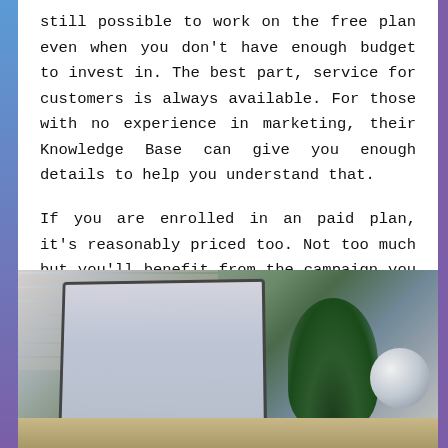still possible to work on the free plan even when you don't have enough budget to invest in. The best part, service for customers is always available. For those with no experience in marketing, their Knowledge Base can give you enough details to help you understand that.
If you are enrolled in an paid plan, it's reasonably priced too. Not too much but you'll benefit from the campaign you develop.
Aweber can be the go-to email marketing for any beginning marketer or businessperson.
[Figure (photo): Photo of a laptop computer on a desk with a plant and a globe/ball object in the background, brick wall visible.]